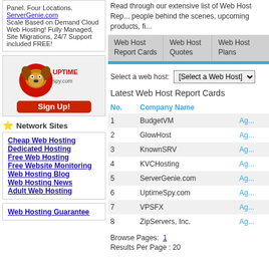Panel. Four Locations. ServerGenie.com Scale Based on Demand Cloud Web Hosting! Fully Managed, Site Migrations, 24/7 Support included FREE!
[Figure (logo): UptimeSpy.com logo with dog mascot and Sign Up button]
Network Sites
Cheap Web Hosting
Dedicated Hosting
Free Web Hosting
Free Website Monitoring
Web Hosting Blog
Web Hosting News
Adult Web Hosting
Web Hosting Guarantee
Read through our extensive list of Web Host Report Cards to find out about the people behind the scenes, upcoming products, fi...
| Web Host Report Cards | Web Host Quotes | Web Host Plans |
| --- | --- | --- |
Select a web host: [Select a Web Host]
Latest Web Host Report Cards
| No. | Company Name |
| --- | --- |
| 1 | BudgetVM |
| 2 | GlowHost |
| 3 | KnownSRV |
| 4 | KVCHosting |
| 5 | ServerGenie.com |
| 6 | UptimeSpy.com |
| 7 | VPSFX |
| 8 | ZipServers, Inc. |
Browse Pages: 1
Results Per Page : 20